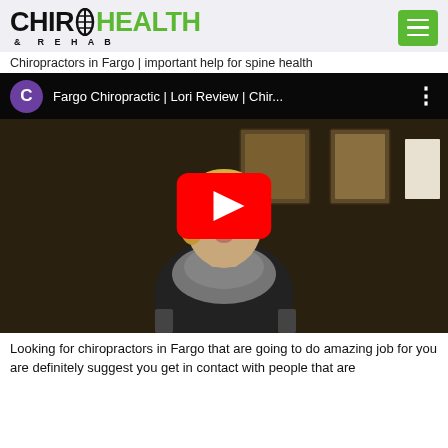[Figure (logo): CHIRO HEALTH & REHAB logo with green spine icon and green HEALTH text]
Chiropractors in Fargo | important help for spine health
[Figure (screenshot): YouTube video thumbnail showing 'Fargo Chiropractic | Lori Review | Chir...' with a woman sitting in a chair, YouTube play button overlay, and channel avatar C in purple circle]
Looking for chiropractors in Fargo that are going to do amazing job for you are definitely suggest you get in contact with people that are